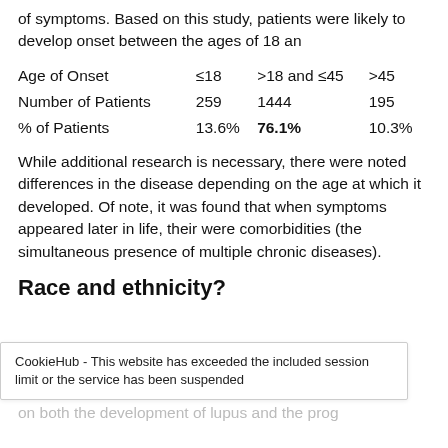of symptoms. Based on this study, patients were likely to develop onset between the ages of 18 an
|  | ≤18 | >18 and ≤45 | >45 |
| --- | --- | --- | --- |
| Age of Onset | ≤18 | >18 and ≤45 | >45 |
| Number of Patients | 259 | 1444 | 195 |
| % of Patients | 13.6% | 76.1% | 10.3% |
While additional research is necessary, there were noted differences in the disease depending on the age at which it developed. Of note, it was found that when symptoms appeared later in life, their were comorbidities (the simultaneous presence of multiple chronic diseases).
Race and ethnicity?
CookieHub - This website has exceeded the included session limit or the service has been suspended
e an impact of race and ethnicity on both the development of lupus and the prognosis